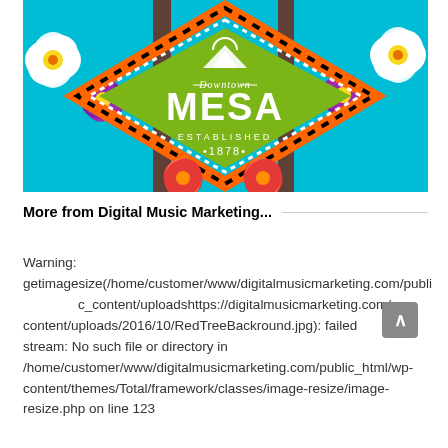[Figure (photo): Colorful mural of Downtown Mesa established 1878 sign with diamond shape on teal background with flowers and trees]
More from Digital Music Marketing...
Warning: getimagesize(/home/customer/www/digitalmusicmarketing.com/public_content/uploadshttps://digitalmusicmarketing.com/wp-content/uploads/2016/10/RedTreeBackround.jpg): failed to open stream: No such file or directory in /home/customer/www/digitalmusicmarketing.com/public_html/wp-content/themes/Total/framework/classes/image-resize/image-resize.php on line 123